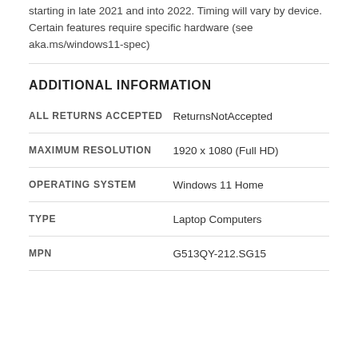starting in late 2021 and into 2022. Timing will vary by device. Certain features require specific hardware (see aka.ms/windows11-spec)
ADDITIONAL INFORMATION
| Field | Value |
| --- | --- |
| ALL RETURNS ACCEPTED | ReturnsNotAccepted |
| MAXIMUM RESOLUTION | 1920 x 1080 (Full HD) |
| OPERATING SYSTEM | Windows 11 Home |
| TYPE | Laptop Computers |
| MPN | G513QY-212.SG15 |